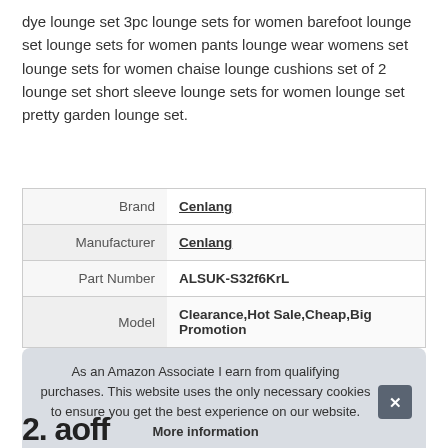dye lounge set 3pc lounge sets for women barefoot lounge set lounge sets for women pants lounge wear womens set lounge sets for women chaise lounge cushions set of 2 lounge set short sleeve lounge sets for women lounge set pretty garden lounge set.
|  |  |
| --- | --- |
| Brand | Cenlang |
| Manufacturer | Cenlang |
| Part Number | ALSUK-S32f6KrL |
| Model | Clearance,Hot Sale,Cheap,Big Promotion |
As an Amazon Associate I earn from qualifying purchases. This website uses the only necessary cookies to ensure you get the best experience on our website. More information